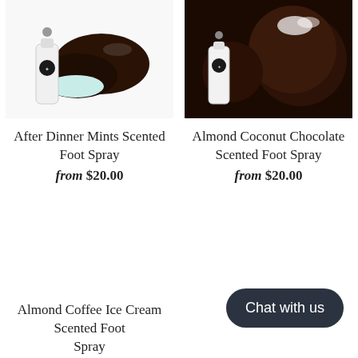[Figure (photo): After Dinner Mints Scented Foot Spray product photo showing dark chocolate candy with mint filling and product bottle]
[Figure (photo): Almond Coconut Chocolate Scented Foot Spray product photo showing chocolate truffles with coconut and product bottle]
After Dinner Mints Scented Foot Spray
from $20.00
Almond Coconut Chocolate Scented Foot Spray
from $20.00
Almond Coffee Ice Cream Scented Foot Spray
Chat with us